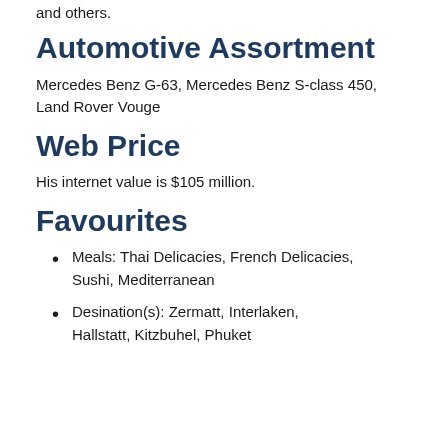and others.
Automotive Assortment
Mercedes Benz G-63, Mercedes Benz S-class 450, Land Rover Vouge
Web Price
His internet value is $105 million.
Favourites
Meals: Thai Delicacies, French Delicacies, Sushi, Mediterranean
Desination(s): Zermatt, Interlaken, Hallstatt, Kitzbuhel, Phuket